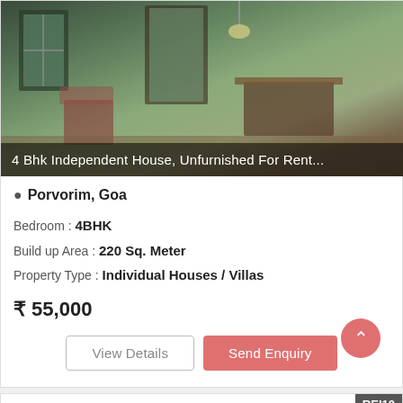[Figure (photo): Interior room photo of a house showing living/dining area with green walls, furniture, and natural light from windows and doorway]
4 Bhk Independent House, Unfurnished For Rent...
Porvorim, Goa
Bedroom : 4BHK
Build up Area : 220 Sq. Meter
Property Type : Individual Houses / Villas
₹ 55,000
View Details
Send Enquiry
[Figure (photo): Placeholder image - no photo available, showing generic image placeholder icon]
REI10...